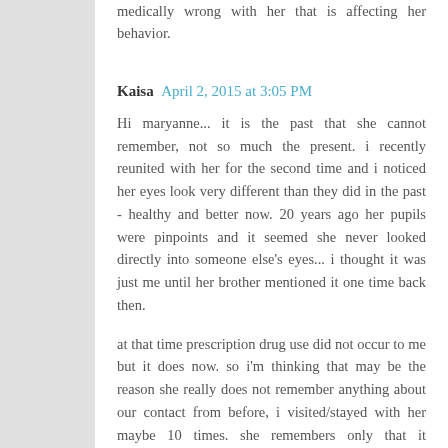medically wrong with her that is affecting her behavior.
Kaisa  April 2, 2015 at 3:05 PM
Hi maryanne... it is the past that she cannot remember, not so much the present. i recently reunited with her for the second time and i noticed her eyes look very different than they did in the past - healthy and better now. 20 years ago her pupils were pinpoints and it seemed she never looked directly into someone else's eyes... i thought it was just me until her brother mentioned it one time back then.
at that time prescription drug use did not occur to me but it does now. so i'm thinking that may be the reason she really does not remember anything about our contact from before, i visited/stayed with her maybe 10 times. she remembers only that it happened. she does not remember a friend of mine who came with me